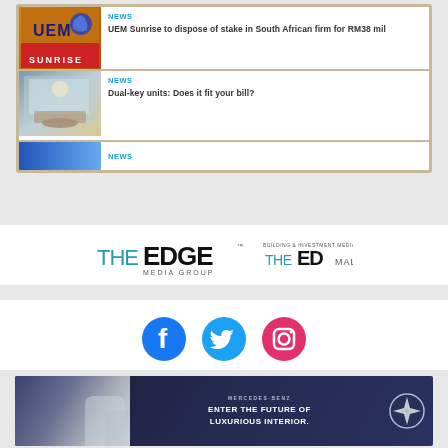[Figure (screenshot): News card: UEM Sunrise logo on orange/red background with UEM branding]
NEWS
UEM Sunrise to dispose of stake in South African firm for RM38 mil
[Figure (photo): Interior apartment view with large windows and modern furniture]
NEWS
Dual-key units: Does it fit your bill?
[Figure (screenshot): Blue gradient thumbnail for third news item]
NEWS
[Figure (logo): The Edge Media Group logo]
[Figure (logo): The Edge Malaysia logo (partial, right side)]
[Figure (infographic): Social media icons: Facebook, Twitter, Instagram]
[Figure (photo): Mercedes-Benz advertisement banner: Enter the Future of Luxurious Interior]